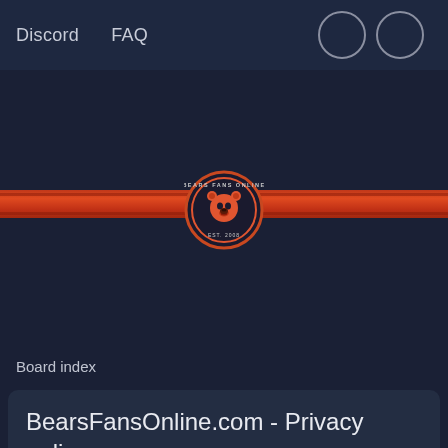Discord  FAQ
[Figure (logo): Bears Fans Online circular logo with bear mascot and text 'BEARS FANS ONLINE EST. 2008']
Board index
BearsFansOnline.com - Privacy policy
This policy explains in detail how "BearsFansOnline.com" along with its affiliated companies (hereinafter "we", "us", "our", "BearsFansOnline.com", "https://www.bearsfansonline.com/forum") and phpBB (hereinafter "they", "them", "their", "phpBB software", "www.phpbb.com", "phpBB Limited"